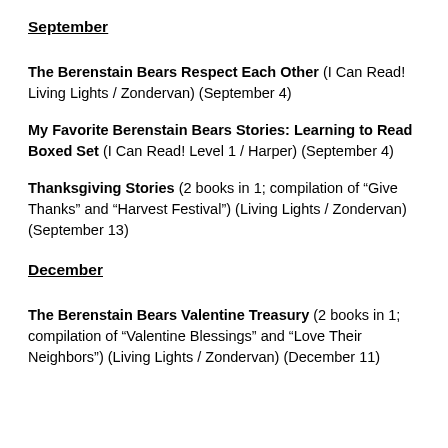September
The Berenstain Bears Respect Each Other (I Can Read! Living Lights / Zondervan) (September 4)
My Favorite Berenstain Bears Stories: Learning to Read Boxed Set (I Can Read! Level 1 / Harper) (September 4)
Thanksgiving Stories (2 books in 1; compilation of “Give Thanks” and “Harvest Festival”) (Living Lights / Zondervan) (September 13)
December
The Berenstain Bears Valentine Treasury (2 books in 1; compilation of “Valentine Blessings” and “Love Their Neighbors”) (Living Lights / Zondervan) (December 11)